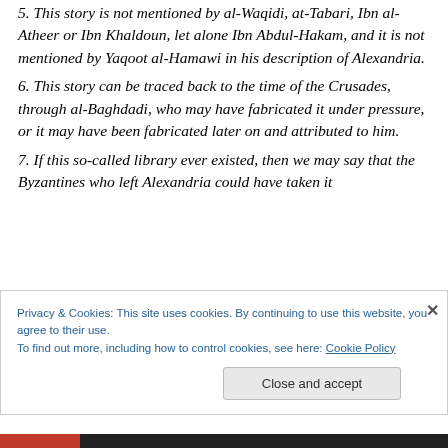5. This story is not mentioned by al-Waqidi, at-Tabari, Ibn al-Atheer or Ibn Khaldoun, let alone Ibn Abdul-Hakam, and it is not mentioned by Yaqoot al-Hamawi in his description of Alexandria.
6. This story can be traced back to the time of the Crusades, through al-Baghdadi, who may have fabricated it under pressure, or it may have been fabricated later on and attributed to him.
7. If this so-called library ever existed, then we may say that the Byzantines who left Alexandria could have taken it
Privacy & Cookies: This site uses cookies. By continuing to use this website, you agree to their use.
To find out more, including how to control cookies, see here: Cookie Policy
Close and accept